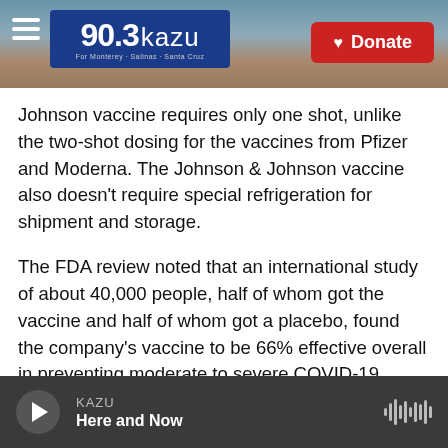90.3 KAZU — For Monterey · Salinas · Santa Cruz | Donate
Johnson vaccine requires only one shot, unlike the two-shot dosing for the vaccines from Pfizer and Moderna. The Johnson & Johnson vaccine also doesn't require special refrigeration for shipment and storage.
The FDA review noted that an international study of about 40,000 people, half of whom got the vaccine and half of whom got a placebo, found the company's vaccine to be 66% effective overall in preventing moderate to severe COVID-19 disease. The study was conducted in the U.S., Latin America and South Africa.
KAZU — Here and Now